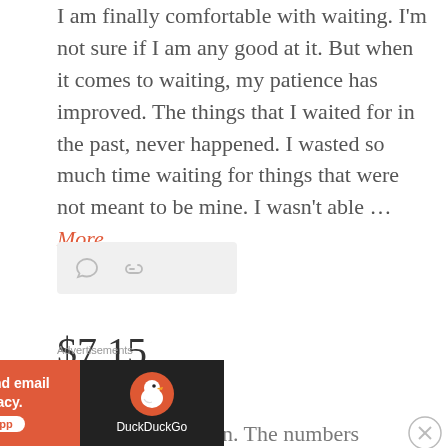I am finally comfortable with waiting. I'm not sure if I am any good at it. But when it comes to waiting, my patience has improved. The things that I waited for in the past, never happened. I wasted so much time waiting for things that were not meant to be mine. I wasn't able … More
[Figure (other): Action bar with comment icon and link icon on a light grey background]
$7.15
August 25, 2017
Maybe this is a sign. The numbers 715 might be
[Figure (other): DuckDuckGo advertisement banner: orange left panel reading 'Search, browse, and email with more privacy. All in One Free App' and dark right panel with DuckDuckGo duck logo and text 'DuckDuckGo']